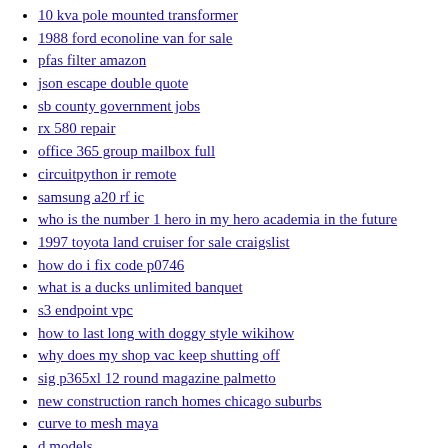10 kva pole mounted transformer
1988 ford econoline van for sale
pfas filter amazon
json escape double quote
sb county government jobs
rx 580 repair
office 365 group mailbox full
circuitpython ir remote
samsung a20 rf ic
who is the number 1 hero in my hero academia in the future
1997 toyota land cruiser for sale craigslist
how do i fix code p0746
what is a ducks unlimited banquet
s3 endpoint vpc
how to last long with doggy style wikihow
why does my shop vac keep shutting off
sig p365xl 12 round magazine palmetto
new construction ranch homes chicago suburbs
curve to mesh maya
d models
breville solenoid valve cleaning
chemistry past paper 2 foundation
compiler vs interpreter
nys vtl 375 30
electrocore migraine